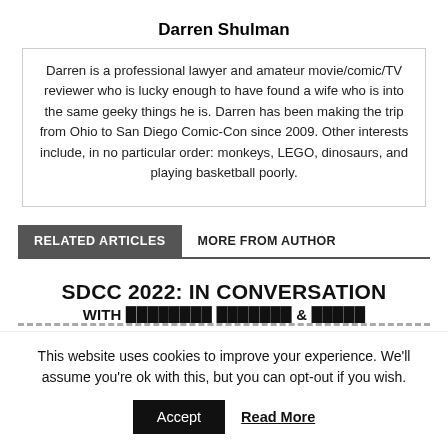Darren Shulman
Darren is a professional lawyer and amateur movie/comic/TV reviewer who is lucky enough to have found a wife who is into the same geeky things he is. Darren has been making the trip from Ohio to San Diego Comic-Con since 2009. Other interests include, in no particular order: monkeys, LEGO, dinosaurs, and playing basketball poorly.
RELATED ARTICLES   MORE FROM AUTHOR
SDCC 2022: IN CONVERSATION
This website uses cookies to improve your experience. We'll assume you're ok with this, but you can opt-out if you wish.
Accept   Read More